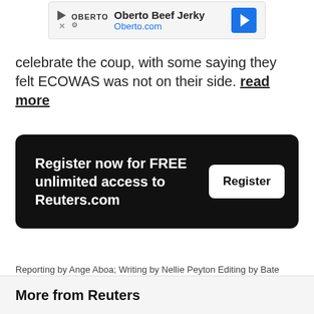[Figure (screenshot): Advertisement banner for Oberto Beef Jerky showing logo, brand name, Oberto.com URL, and a blue arrow icon]
celebrate the coup, with some saying they felt ECOWAS was not on their side. read more
[Figure (screenshot): Black registration call-to-action box: 'Register now for FREE unlimited access to Reuters.com' with a white Register button]
Reporting by Ange Aboa; Writing by Nellie Peyton Editing by Bate Felix and Nick Macfie
Our Standards: The Thomson Reuters Trust Principles.
More from Reuters